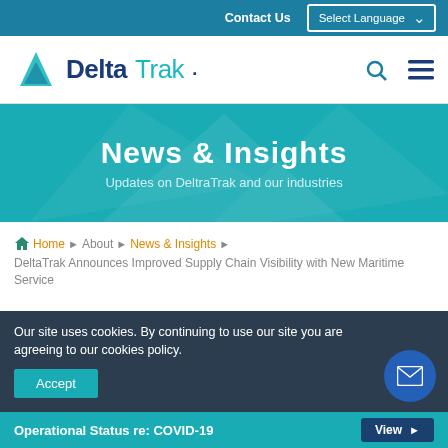Contact Us | Select Language
[Figure (logo): DeltaTrak logo with teal triangle icon and 'DeltaTrak' text]
News & Insights
Updates on DeltraTrak and our industries
Home ▶ About ▶ News & Insights ▶ DeltaTrak Announces Improved Supply Chain Visibility with New Maritime Service
DeltaTrak Announces
Our site uses cookies. By continuing to use our site you are agreeing to our cookies policy.
Accept
Operational Status re: COVID-19  View ▶